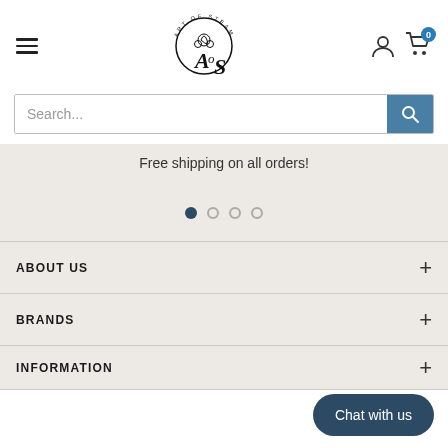[Figure (logo): Art of Steam logo with circular flourish design and stylized AoS text, black on white]
[Figure (screenshot): Search bar with placeholder text 'Search...' and a teal search button with magnifying glass icon]
Free shipping on all orders!
[Figure (other): Carousel pagination dots: 4 dots, first filled dark, rest grey outline]
ABOUT US
BRANDS
INFORMATION
Chat with us